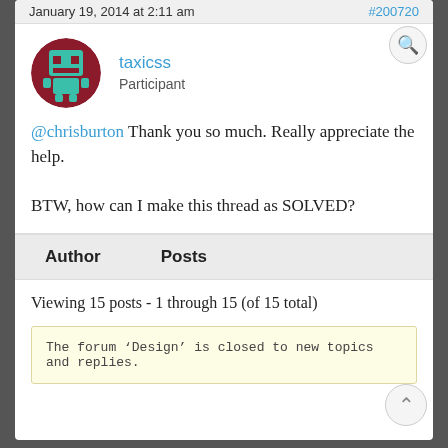January 19, 2014 at 2:11 am   #200720
[Figure (illustration): Pixel art avatar of taxicss user: teal/green robot character on dark red circular background]
taxicss
Participant
@chrisburton Thank you so much. Really appreciate the help.

BTW, how can I make this thread as SOLVED?
| Author | Posts |
| --- | --- |
Viewing 15 posts - 1 through 15 (of 15 total)
The forum ‘Design’ is closed to new topics and replies.